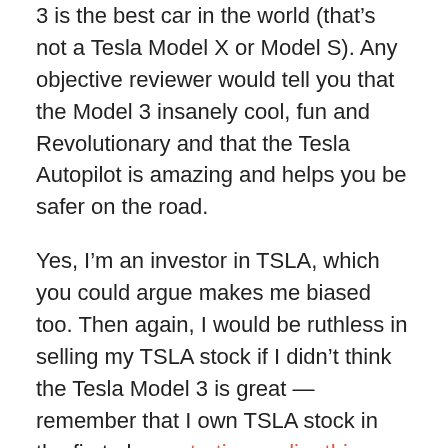3 is the best car in the world (that's not a Tesla Model X or Model S). Any objective reviewer would tell you that the Model 3 insanely cool, fun and Revolutionary and that the Tesla Autopilot is amazing and helps you be safer on the road.
Yes, I'm an investor in TSLA, which you could argue makes me biased too. Then again, I would be ruthless in selling my TSLA stock if I didn't think the Tesla Model 3 is great — remember that I own TSLA stock in the first place, starting earlier this year, because of how amazing I found the Model 3 to be.
My family had a subscription to Consumer Reports when I was a kid and up until I figured out how stupidly biased Consumer Reports and their analysis really is putting together this report, I still had a lot respect for their